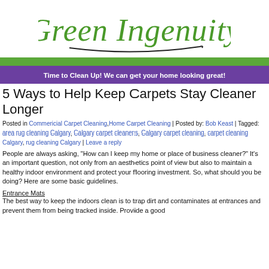[Figure (logo): Green Ingenuity handwritten-style green logo text with decorative underline]
Time to Clean Up! We can get your home looking great!
5 Ways to Help Keep Carpets Stay Cleaner Longer
Posted in Commericial Carpet Cleaning, Home Carpet Cleaning | Posted by: Bob Keast | Tagged: area rug cleaning Calgary, Calgary carpet cleaners, Calgary carpet cleaning, carpet cleaning Calgary, rug cleaning Calgary | Leave a reply
People are always asking, "How can I keep my home or place of business cleaner?" It's an important question, not only from an aesthetics point of view but also to maintain a healthy indoor environment and protect your flooring investment. So, what should you be doing? Here are some basic guidelines.
Entrance Mats
The best way to keep the indoors clean is to trap dirt and contaminates at entrances and prevent them from being tracked inside. Provide a good